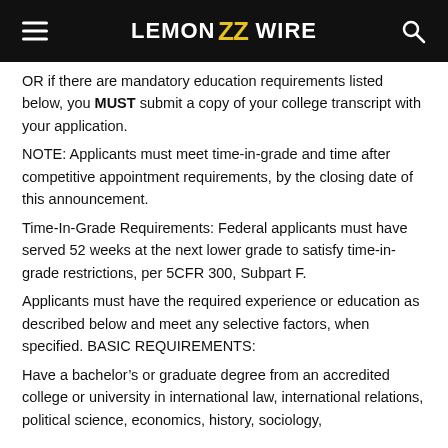LEMON ZZ WIRE
OR if there are mandatory education requirements listed below, you MUST submit a copy of your college transcript with your application.
NOTE: Applicants must meet time-in-grade and time after competitive appointment requirements, by the closing date of this announcement.
Time-In-Grade Requirements: Federal applicants must have served 52 weeks at the next lower grade to satisfy time-in-grade restrictions, per 5CFR 300, Subpart F.
Applicants must have the required experience or education as described below and meet any selective factors, when specified. BASIC REQUIREMENTS:
Have a bachelor’s or graduate degree from an accredited college or university in international law, international relations, political science, economics, history, sociology,